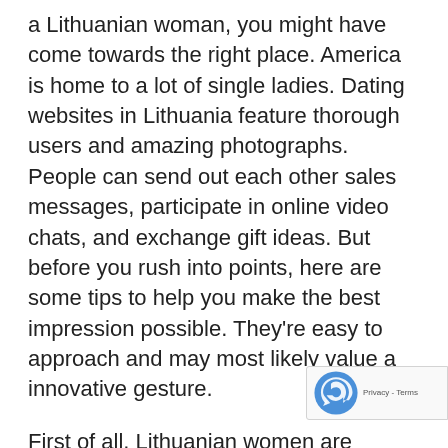a Lithuanian woman, you might have come towards the right place. America is home to a lot of single ladies. Dating websites in Lithuania feature thorough users and amazing photographs. People can send out each other sales messages, participate in online video chats, and exchange gift ideas. But before you rush into points, here are some tips to help you make the best impression possible. They're easy to approach and may most likely value a innovative gesture.
First of all, Lithuanian women are incredibly attractive. The light skin and dark eyes cause them to become appear incomprehensible and attractive. And while their very own stoic presence can be overwhelming, their healthy
[Figure (other): reCAPTCHA badge showing Privacy - Terms text]